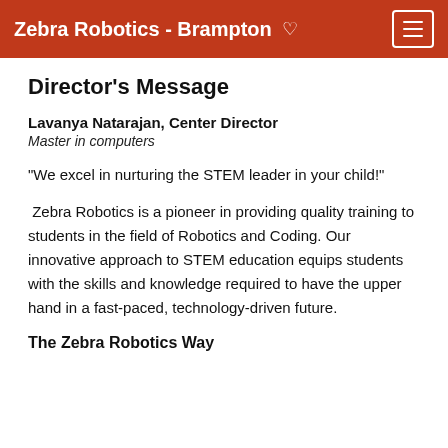Zebra Robotics - Brampton ♡
Director's Message
Lavanya Natarajan, Center Director
Master in computers
"We excel in nurturing the STEM leader in your child!"
Zebra Robotics is a pioneer in providing quality training to students in the field of Robotics and Coding. Our innovative approach to STEM education equips students with the skills and knowledge required to have the upper hand in a fast-paced, technology-driven future.
The Zebra Robotics Way